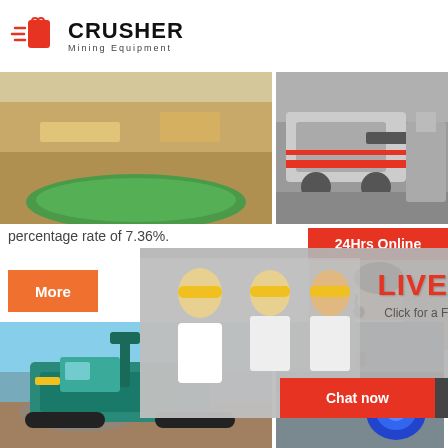[Figure (logo): CRUSHER Mining Equipment logo with red shopping bag icon with speed lines]
[Figure (photo): Quarry/mining site with green water pool and sandy earthworks]
[Figure (photo): Industrial crushing equipment/machinery at a mine site]
percentage rate of 7.36%.
[Figure (infographic): Live Chat popup overlay with workers in hard hats, red LIVE CHAT text, Click for a Free Consultation, Chat now and Chat later buttons]
[Figure (infographic): 24Hrs Online banner with customer service representative wearing headset, Need questions & suggestion? Chat Now button, Enquiry section, limingjlmofen@sina.com]
[Figure (photo): Mobile crushing machine (teal/green) at an outdoor mine site]
[Figure (photo): Industrial mining conveyor or pipe equipment detail]